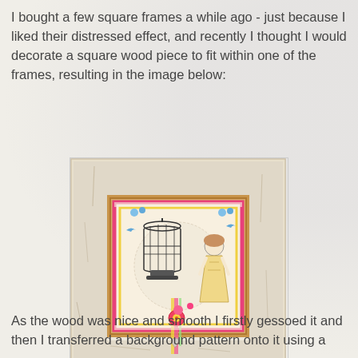I bought a few square frames a while ago - just because I liked their distressed effect, and recently I thought I would decorate a square wood piece to fit within one of the frames, resulting in the image below:
[Figure (photo): A distressed white square picture frame containing a decorative mixed-media art piece with a birdcage, a girl in a dress, colorful ribbons, flowers, and birds on a patterned background]
As the wood was nice and smooth I firstly gessoed it and then I transferred a background pattern onto it using a